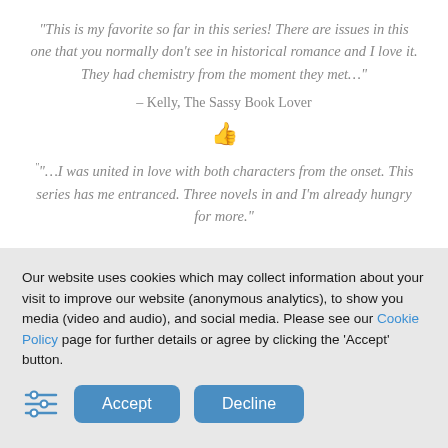“This is my favorite so far in this series! There are issues in this one that you normally don’t see in historical romance and I love it. They had chemistry from the moment they met…”
– Kelly, The Sassy Book Lover
[Figure (illustration): Yellow thumbs up emoji icon]
““…I was united in love with both characters from the onset. This series has me entranced. Three novels in and I’m already hungry for more.”
Our website uses cookies which may collect information about your visit to improve our website (anonymous analytics), to show you media (video and audio), and social media. Please see our Cookie Policy page for further details or agree by clicking the ‘Accept’ button.